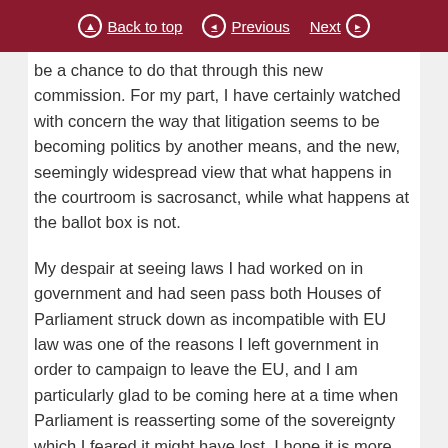Back to top | Previous | Next
be a chance to do that through this new commission. For my part, I have certainly watched with concern the way that litigation seems to be becoming politics by another means, and the new, seemingly widespread view that what happens in the courtroom is sacrosanct, while what happens at the ballot box is not.
My despair at seeing laws I had worked on in government and had seen pass both Houses of Parliament struck down as incompatible with EU law was one of the reasons I left government in order to campaign to leave the EU, and I am particularly glad to be coming here at a time when Parliament is reasserting some of the sovereignty which I feared it might have lost. I hope it is more than youthful